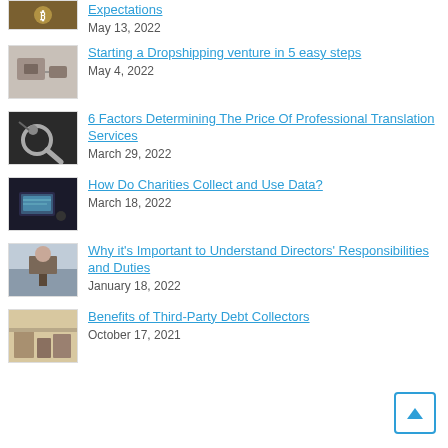Expectations — May 13, 2022
Starting a Dropshipping venture in 5 easy steps — May 4, 2022
6 Factors Determining The Price Of Professional Translation Services — March 29, 2022
How Do Charities Collect and Use Data? — March 18, 2022
Why it's Important to Understand Directors' Responsibilities and Duties — January 18, 2022
Benefits of Third-Party Debt Collectors — October 17, 2021